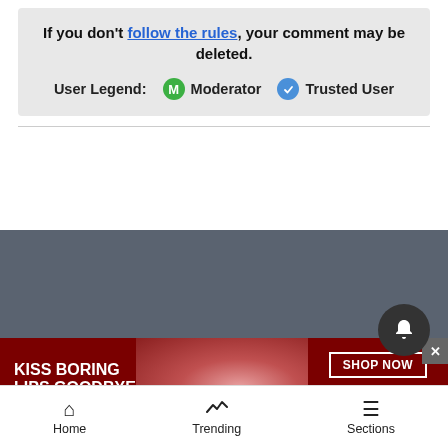If you don't follow the rules, your comment may be deleted.
User Legend: M Moderator  ✓ Trusted User
YOUR AD HERE »
[Figure (photo): Macy's advertisement banner: 'Kiss Boring Lips Goodbye' with woman wearing red lipstick and 'Shop Now' button with Macy's star logo]
Home  Trending  Sections